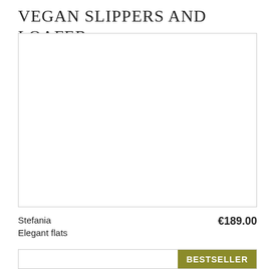Vegan slippers and loafer
[Figure (photo): Product image placeholder — white/empty image area with border for vegan shoes product listing]
Stefania
Elegant flats
€189.00
[Figure (photo): Second product image placeholder with BESTSELLER badge in olive/gold color in top-right corner]